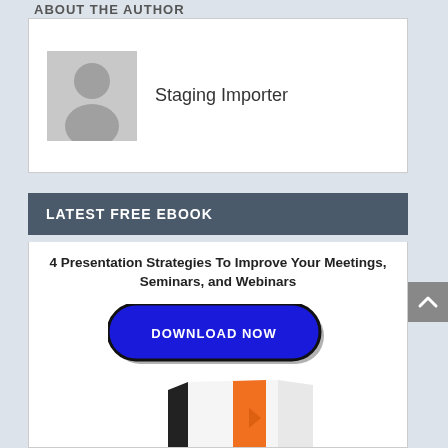ABOUT THE AUTHOR
[Figure (photo): Author placeholder avatar with name 'Staging Importer']
LATEST FREE EBOOK
4 Presentation Strategies To Improve Your Meetings, Seminars, and Webinars
[Figure (other): DOWNLOAD NOW button (blue rounded rectangle with black border)]
[Figure (illustration): Book cover illustration with orange and white colors]